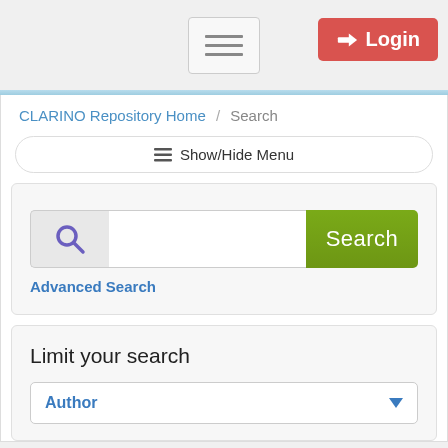[Figure (screenshot): Top navigation bar with hamburger menu button and red Login button]
CLARINO Repository Home / Search
☰ Show/Hide Menu
[Figure (screenshot): Search box with magnifying glass icon, text input field, and green Search button]
Advanced Search
Limit your search
Author